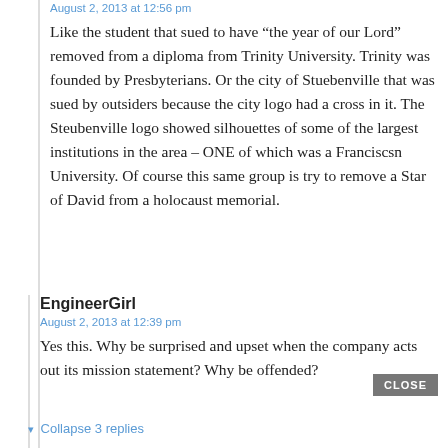August 2, 2013 at 12:56 pm
Like the student that sued to have “the year of our Lord” removed from a diploma from Trinity University. Trinity was founded by Presbyterians. Or the city of Stuebenville that was sued by outsiders because the city logo had a cross in it. The Steubenville logo showed silhouettes of some of the largest institutions in the area – ONE of which was a Franciscsn University. Of course this same group is try to remove a Star of David from a holocaust memorial.
EngineerGirl
August 2, 2013 at 12:39 pm
Yes this. Why be surprised and upset when the company acts out its mission statement? Why be offended?
CLOSE
▾ Collapse 3 replies